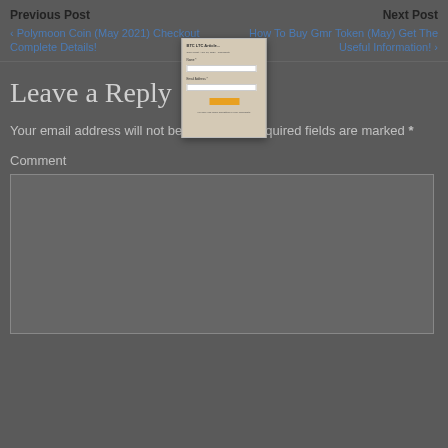Previous Post    Next Post
‹ Polymoon Coin (May 2021) Checkout Complete Details!
How To Buy Gmr Token (May) Get The Useful Information! ›
[Figure (screenshot): A popup/overlay showing a form with fields for name and email, and an orange submit button]
Leave a Reply
Your email address will not be published. Required fields are marked *
Comment